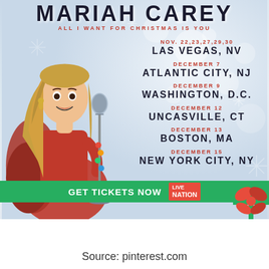[Figure (illustration): Mariah Carey concert tour promotional poster. Shows Mariah Carey in a red dress with fur stole, standing at a vintage microphone against a snowy/bokeh background. Title at top reads MARIAH CAREY in large black letters, subtitle ALL I WANT FOR CHRISTMAS IS YOU in red letters. Tour dates listed on right side for Nov and December shows. Green GET TICKETS NOW banner at bottom with Live Nation logo. Gift bow in corner.]
Source: pinterest.com